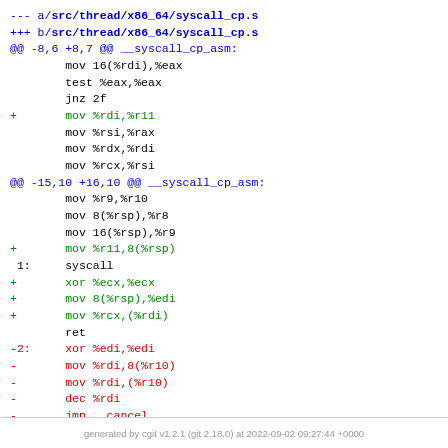[Figure (other): Git diff output showing changes to src/thread/x86_64/syscall_cp.s assembly file, with added lines in green (prefixed with +) and removed lines in red (prefixed with -), and context lines in black. Hunk headers in blue.]
generated by cgit v1.2.1 (git 2.18.0) at 2022-09-02 09:27:44 +0000